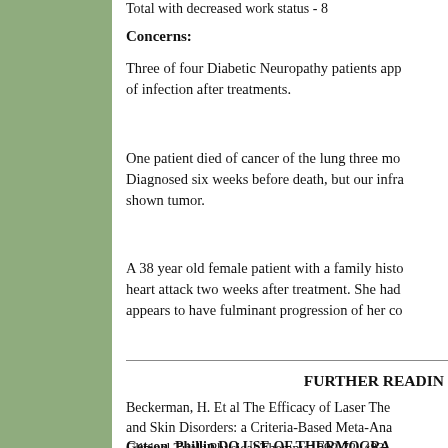Total with decreased work status - 8
Concerns:
Three of four Diabetic Neuropathy patients app... of infection after treatments.
One patient died of cancer of the lung three mo... Diagnosed six weeks before death, but our infra... shown tumor.
A 38 year old female patient with a family histo... heart attack two weeks after treatment. She had... appears to have fulminant progression of her co...
FURTHER READING
Beckerman, H. Et al The Efficacy of Laser The... and Skin Disorders: a Criteria-Based Meta-Ana... Clinical Trials Physical Therapy 1992;72: 483-...
Getson, Phillip DO USE OF THERMOGRA...